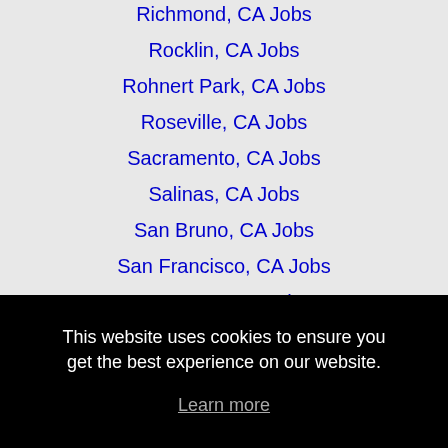Richmond, CA Jobs
Rocklin, CA Jobs
Rohnert Park, CA Jobs
Roseville, CA Jobs
Sacramento, CA Jobs
Salinas, CA Jobs
San Bruno, CA Jobs
San Francisco, CA Jobs
San Jose, CA Jobs
San Leandro, CA Jobs
This website uses cookies to ensure you get the best experience on our website.
Learn more
Got it!